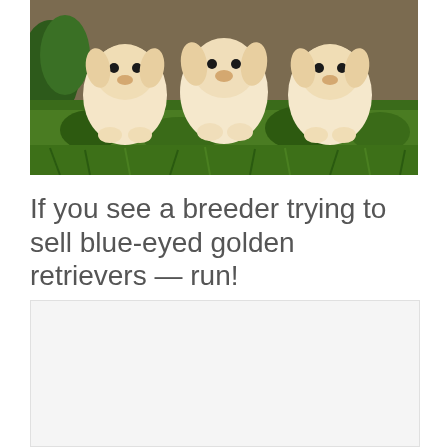[Figure (photo): Three golden retriever puppies sitting on green grass with a wooden background, facing the camera]
If you see a breeder trying to sell blue-eyed golden retrievers — run!